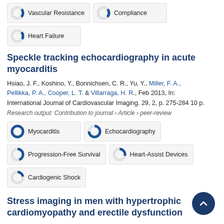[Figure (donut-chart): Small donut chart ~25% filled, blue, beside 'Vascular Resistance']
Vascular Resistance
[Figure (donut-chart): Small donut chart ~25% filled, blue, beside 'Compliance']
Compliance
[Figure (donut-chart): Small donut chart ~22% filled, blue, beside 'Heart Failure']
Heart Failure
Speckle tracking echocardiography in acute myocarditis
Hsiao, J. F., Koshino, Y., Bonnichsen, C. R., Yu, Y., Miller, F. A., Pellikka, P. A., Cooper, L. T. & Villarraga, H. R., Feb 2013, In: International Journal of Cardiovascular Imaging. 29, 2, p. 275-284 10 p.
Research output: Contribution to journal › Article › peer-review
[Figure (donut-chart): Large donut chart ~100% filled, blue, beside 'Myocarditis']
Myocarditis
[Figure (donut-chart): Large donut chart ~75% filled, blue, beside 'Echocardiography']
Echocardiography
[Figure (donut-chart): Medium donut chart ~45% filled, blue, beside 'Progression-Free Survival']
Progression-Free Survival
[Figure (donut-chart): Small donut chart ~30% filled, blue, beside 'Heart-Assist Devices']
Heart-Assist Devices
[Figure (donut-chart): Small donut chart ~22% filled, blue, beside 'Cardiogenic Shock']
Cardiogenic Shock
Stress imaging in men with hypertrophic cardiomyopathy and erectile dysfunction